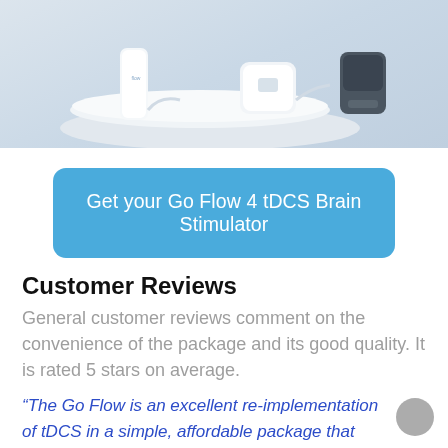[Figure (photo): Product photo showing Go Flow 4 tDCS brain stimulator devices (white medical devices) on a light grey/blue background]
Get your Go Flow 4 tDCS Brain Stimulator
Customer Reviews
General customer reviews comment on the convenience of the package and its good quality. It is rated 5 stars on average.
“The Go Flow is an excellent re-implementation of tDCS in a simple, affordable package that could probably boast to be the smallest device of its kind on the market.”